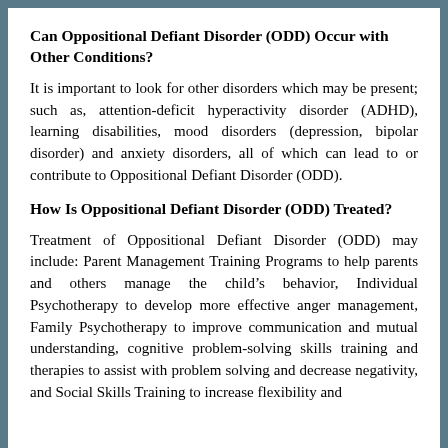Can Oppositional Defiant Disorder (ODD) Occur with Other Conditions?
It is important to look for other disorders which may be present; such as, attention-deficit hyperactivity disorder (ADHD), learning disabilities, mood disorders (depression, bipolar disorder) and anxiety disorders, all of which can lead to or contribute to Oppositional Defiant Disorder (ODD).
How Is Oppositional Defiant Disorder (ODD) Treated?
Treatment of Oppositional Defiant Disorder (ODD) may include: Parent Management Training Programs to help parents and others manage the child’s behavior, Individual Psychotherapy to develop more effective anger management, Family Psychotherapy to improve communication and mutual understanding, cognitive problem-solving skills training and therapies to assist with problem solving and decrease negativity, and Social Skills Training to increase flexibility and